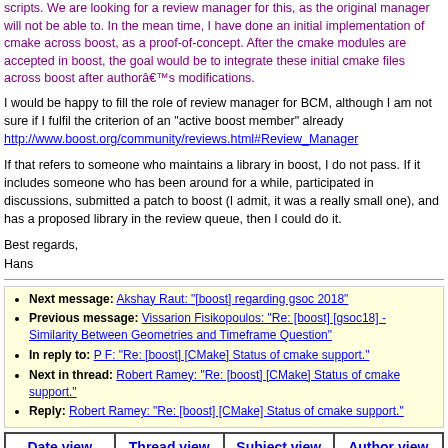scripts. We are looking for a review manager for this, as the original manager will not be able to. In the mean time, I have done an initial implementation of cmake across boost, as a proof-of-concept. After the cmake modules are accepted in boost, the goal would be to integrate these initial cmake files across boost after authorâ€™s modifications.
I would be happy to fill the role of review manager for BCM, although I am not sure if I fulfil the criterion of an "active boost member" already http://www.boost.org/community/reviews.html#Review_Manager
If that refers to someone who maintains a library in boost, I do not pass. If it includes someone who has been around for a while, participated in discussions, submitted a patch to boost (I admit, it was a really small one), and has a proposed library in the review queue, then I could do it.
Best regards,
Hans
Next message: Akshay Raut: "[boost] regarding gsoc 2018"
Previous message: Vissarion Fisikopoulos: "Re: [boost] [gsoc18] - Similarity Between Geometries and Timeframe Question"
In reply to: P F: "Re: [boost] [CMake] Status of cmake support."
Next in thread: Robert Ramey: "Re: [boost] [CMake] Status of cmake support."
Reply: Robert Ramey: "Re: [boost] [CMake] Status of cmake support."
Date view | Thread view | Subject view | Author view
Boost list run by bdawes at acm.org, gregod at cs.rpi.edu, cpdaniel at pacbell.net, john at johnmaddock.co.uk